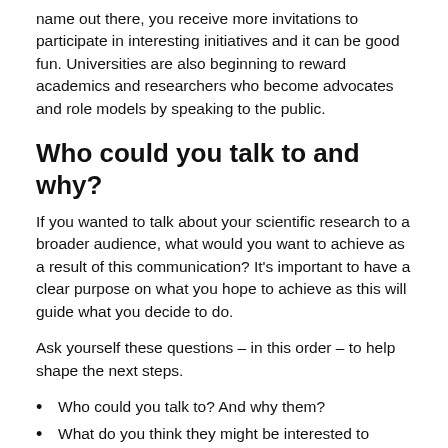name out there, you receive more invitations to participate in interesting initiatives and it can be good fun. Universities are also beginning to reward academics and researchers who become advocates and role models by speaking to the public.
Who could you talk to and why?
If you wanted to talk about your scientific research to a broader audience, what would you want to achieve as a result of this communication? It’s important to have a clear purpose on what you hope to achieve as this will guide what you decide to do.
Ask yourself these questions – in this order – to help shape the next steps.
Who could you talk to? And why them?
What do you think they might be interested to know?